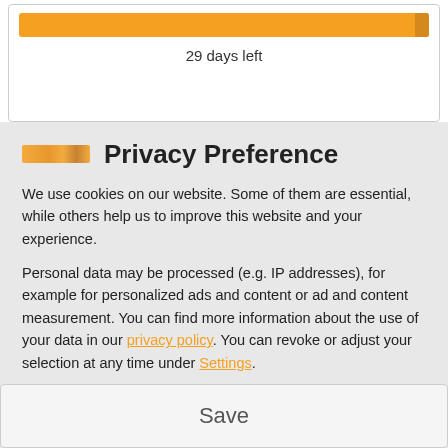[Figure (screenshot): Orange progress bar with '29 days left' label below it]
29 days left
Privacy Preference
We use cookies on our website. Some of them are essential, while others help us to improve this website and your experience.
Personal data may be processed (e.g. IP addresses), for example for personalized ads and content or ad and content measurement. You can find more information about the use of your data in our privacy policy. You can revoke or adjust your selection at any time under Settings.
Essential
Statistics
Accept all
Save